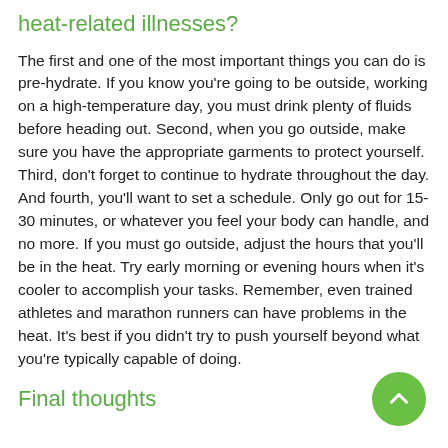heat-related illnesses?
The first and one of the most important things you can do is pre-hydrate. If you know you're going to be outside, working on a high-temperature day, you must drink plenty of fluids before heading out. Second, when you go outside, make sure you have the appropriate garments to protect yourself. Third, don't forget to continue to hydrate throughout the day. And fourth, you'll want to set a schedule. Only go out for 15-30 minutes, or whatever you feel your body can handle, and no more. If you must go outside, adjust the hours that you'll be in the heat. Try early morning or evening hours when it's cooler to accomplish your tasks. Remember, even trained athletes and marathon runners can have problems in the heat. It's best if you didn't try to push yourself beyond what you're typically capable of doing.
Final thoughts